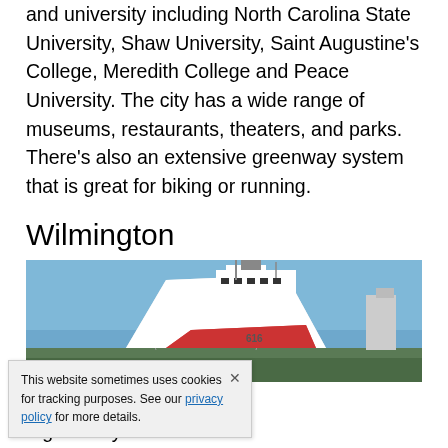and university including North Carolina State University, Shaw University, Saint Augustine's College, Meredith College and Peace University. The city has a wide range of museums, restaurants, theaters, and parks. There's also an extensive greenway system that is great for biking or running.
Wilmington
[Figure (photo): Photograph of a large white Coast Guard cutter (numbered 616) docked at a waterfront, with a bridge and buildings visible in the background under a blue sky.]
city in southeastern ... a great city to visit for it's ... ge historic district, and quaint atmosphere. The city has a population
This website sometimes uses cookies for tracking purposes. See our privacy policy for more details.